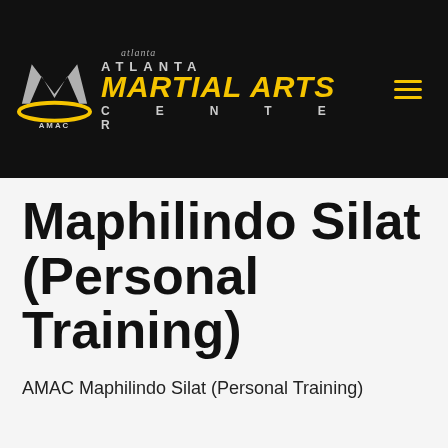[Figure (logo): Atlanta Martial Arts Center (AMAC) logo with silver M shield emblem and yellow 'MARTIAL ARTS' text on black background, with hamburger menu icon]
Maphilindo Silat (Personal Training)
AMAC Maphilindo Silat (Personal Training)